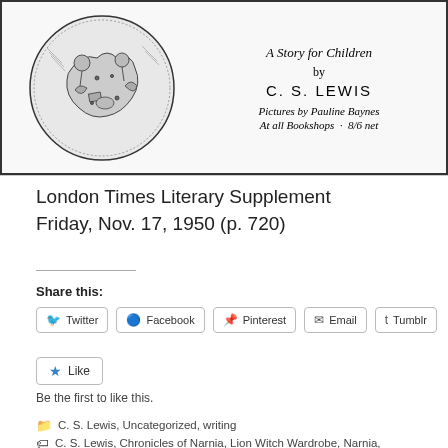[Figure (illustration): Book advertisement showing a circular pen-and-ink illustration of children and fantastical scene on the left, and book title text on the right: 'A Story for Children by C. S. LEWIS, Pictures by Pauline Baynes, At all Bookshops · 8/6 net']
London Times Literary Supplement
Friday, Nov. 17, 1950 (p. 720)
Share this:
Twitter
Facebook
Pinterest
Email
Tumblr
Like
Be the first to like this.
C. S. Lewis, Uncategorized, writing
C. S. Lewis, Chronicles of Narnia, Lion Witch Wardrobe, Narnia,